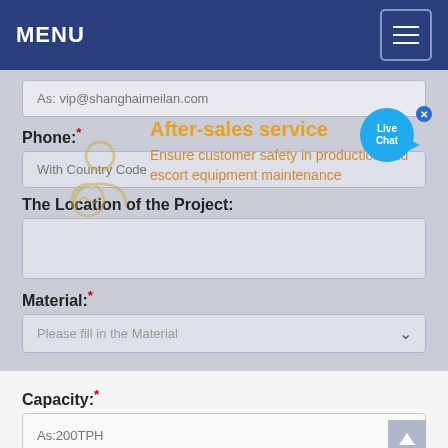MENU
As: vip@shanghaimeilan.com
Phone:*
With Country Code
[Figure (infographic): After-sales service overlay with icon and text: Ensure customer safety in production and escort equipment maintenance]
The Location of the Project:
Material:*
Please fill in the Material
Capacity:*
As:200TPH
Message:*